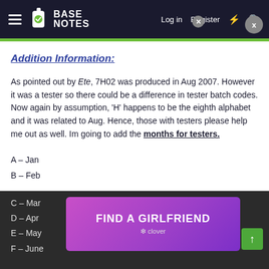BASE NOTES — Log in  Register
Addition Information:
As pointed out by Ete, 7H02 was produced in Aug 2007. However it was a tester so there could be a difference in tester batch codes. Now again by assumption, 'H' happens to be the eighth alphabet and it was related to Aug. Hence, those with testers please help me out as well. Im going to add the months for testers.
A – Jan
B – Feb
C – Mar
D – Apr
E – May
F – June